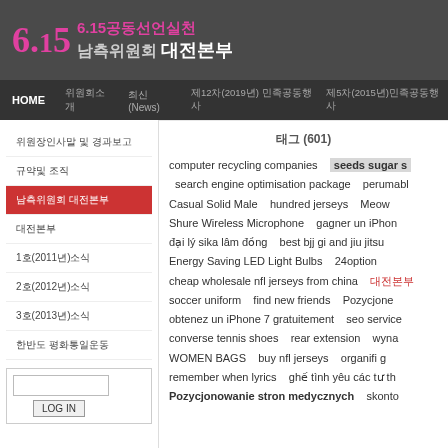6.15공동선언실천 남측위원회 대전본부
HOME | 위원회소개 | 최신(News) | 제12차(2019년) 민족공동행사 | 제5차(2015년)민족공동행사
위원장인사말 및 경과보고
규약및 조직
남측위원회 대전본부
대전본부
1호(2011년)소식
2호(2012년)소식
3호(2013년)소식
한반도 평화통일운동
태그 (601)
computer recycling companies  seeds sugar s  search engine optimisation package  perumabl  Casual Solid Male  hundred jerseys  Meow  Shure Wireless Microphone  gagner un iPhone  đại lý sika lâm đồng  best bjj gi and jiu jitsu  Energy Saving LED Light Bulbs  24option  cheap wholesale nfl jerseys from china  soccer uniform  find new friends  Pozycjone  obtenez un iPhone 7 gratuitement  seo service  converse tennis shoes  rear extension  wynaj  WOMEN BAGS  buy nfl jerseys  organifi g  remember when lyrics  ghế tình yêu các tư th  Pozycjonowanie stron medycznych  skonto